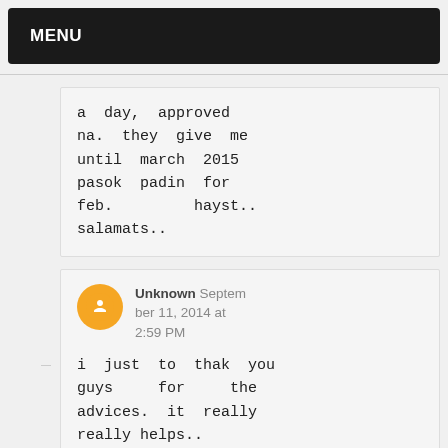MENU
a day, approved na. they give me until march 2015 pasok padin for feb. hayst.. salamats..
Unknown September 11, 2014 at 2:59 PM
i just to thak you guys for the advices. it really really helps..